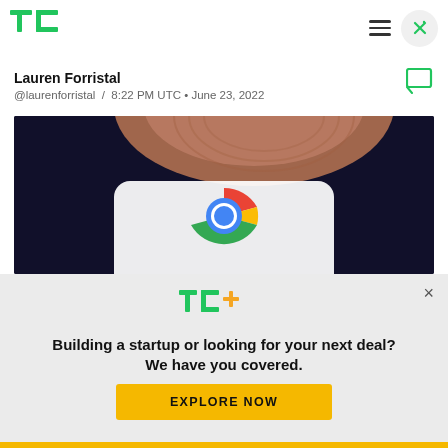TechCrunch header with TC logo, hamburger menu, and close button
Lauren Forristal
@laurenforristal  /  8:22 PM UTC • June 23, 2022
[Figure (photo): Close-up photo of a finger touching a smartphone screen showing the Google Chrome icon (red, green, yellow, blue circular logo) against a dark background]
[Figure (logo): TC+ logo in green and orange text on light gray background]
Building a startup or looking for your next deal? We have you covered.
EXPLORE NOW